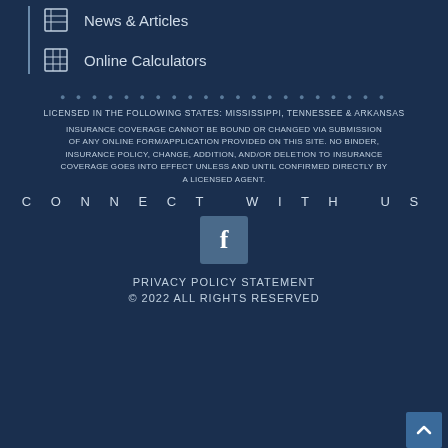News & Articles
Online Calculators
LICENSED IN THE FOLLOWING STATES: MISSISSIPPI, TENNESSEE & ARKANSAS
INSURANCE COVERAGE CANNOT BE BOUND OR CHANGED VIA SUBMISSION OF ANY ONLINE FORM/APPLICATION PROVIDED ON THIS SITE. NO BINDER, INSURANCE POLICY, CHANGE, ADDITION, AND/OR DELETION TO INSURANCE COVERAGE GOES INTO EFFECT UNLESS AND UNTIL CONFIRMED DIRECTLY BY A LICENSED AGENT.
CONNECT WITH US
[Figure (logo): Facebook icon — white 'f' on a blue-grey rounded square button]
PRIVACY POLICY STATEMENT
© 2022 ALL RIGHTS RESERVED